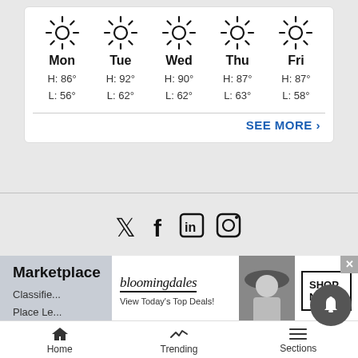[Figure (infographic): 5-day weather forecast widget showing sunny icons and temperatures for Mon-Fri]
SEE MORE ›
[Figure (infographic): Social media icons: Twitter, Facebook, LinkedIn, Instagram]
Marketplace
Classifieds
Place Le...
[Figure (advertisement): Bloomingdales ad: View Today's Top Deals! SHOP NOW >]
Home   Trending   Sections